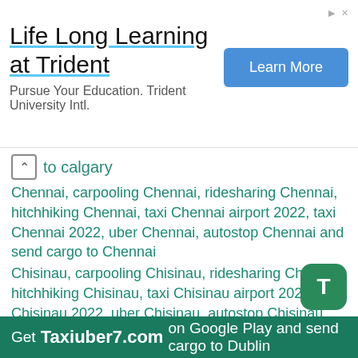[Figure (other): Advertisement banner: 'Life Long Learning at Trident' with 'Learn More' button and subtitle 'Pursue Your Education. Trident University Intl.']
to calgary
Chennai, carpooling Chennai, ridesharing Chennai, hitchhiking Chennai, taxi Chennai airport 2022, taxi Chennai 2022, uber Chennai, autostop Chennai and send cargo to Chennai
Chisinau, carpooling Chisinau, ridesharing Chisinau, hitchhiking Chisinau, taxi Chisinau airport 2022, taxi Chisinau 2022, uber Chisinau, autostop Chisinau and send cargo to Chisinau
Cluj, carpooling Cluj, ridesharing Cluj, hitchhiking Cluj, taxi Cluj airport 2022, taxi Cluj 2022, uber Cluj, autostop Cluj and send cargo to Cluj
Dubai, carpooling Dubai, ridesharing Dubai, hitchhiking Dubai, taxi Dubai airport 2022, taxi Dubai 2022, uber Dubai, autostop Dubai and send cargo to Dubai
Dublin, carpooling Dublin, ridesharing Dublin, hitchhiking Dublin, taxi Dublin airport 2022, taxi Dublin 2022, uber Dublin, autostop Dublin and send cargo to Dublin
Get Taxiuber7.com on Google Play